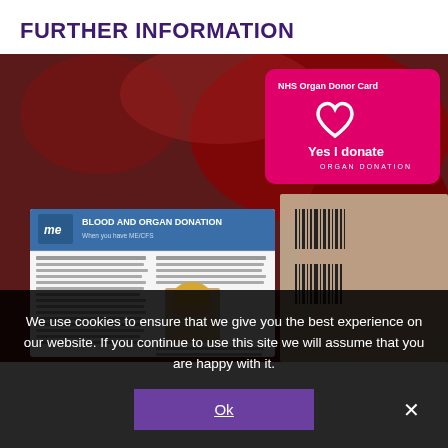FURTHER INFORMATION
[Figure (photo): Photo showing blood donation bags with barcodes in the background and an NHS Organ Donor Card (pink card with heart logo and 'Yes I donate ORGAN DONATION' text) overlaid, plus a newspaper/leaflet about 'BLOOD AND ORGAN DONATION' with a photo of a blonde woman.]
We use cookies to ensure that we give you the best experience on our website. If you continue to use this site we will assume that you are happy with it.
Ok